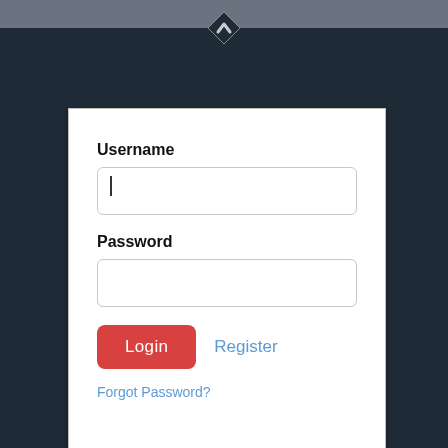[Figure (logo): Dark diamond/chevron logo icon at the top center of the page on a gray bar]
Username
[Figure (screenshot): Text input field for username with cursor]
Password
[Figure (screenshot): Text input field for password (empty)]
Login
Register
Forgot Password?
30 Day Guarantee